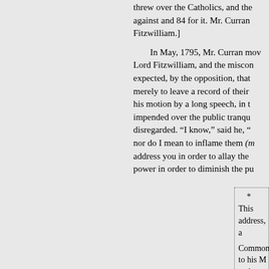threw over the Catholics, and the against and 84 for it. Mr. Curran Fitzwilliam.]
In May, 1795, Mr. Curran mov Lord Fitzwilliam, and the miscon expected, by the opposition, that merely to leave a record of their his motion by a long speech, in t impended over the public tranqu disregarded. “I know,” said he, “ nor do I mean to inflame them (m address you in order to allay the power in order to diminish the pu
* This address, a Commons to his M and their late extra war, proceeds That we were the m and an attachment our extraordiDary under a patriot vic in the administratio conceived, in the